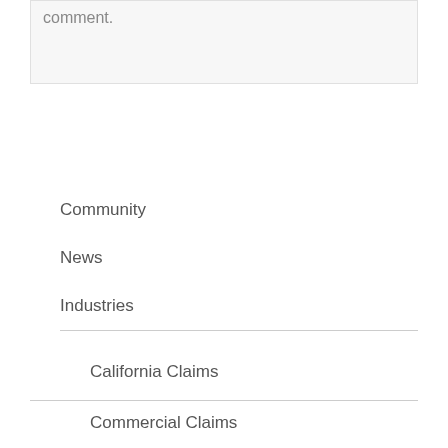comment.
Community
News
Industries
California Claims
Commercial Claims
Condos and Co-Ops